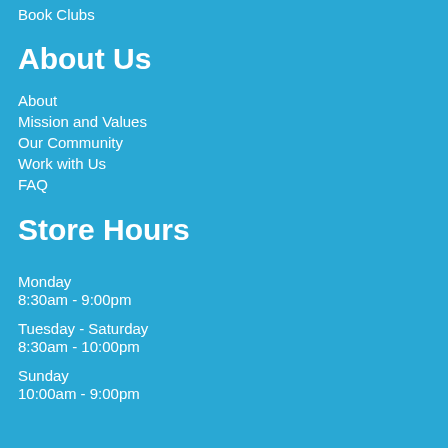Book Clubs
About Us
About
Mission and Values
Our Community
Work with Us
FAQ
Store Hours
Monday
8:30am - 9:00pm
Tuesday - Saturday
8:30am - 10:00pm
Sunday
10:00am - 9:00pm